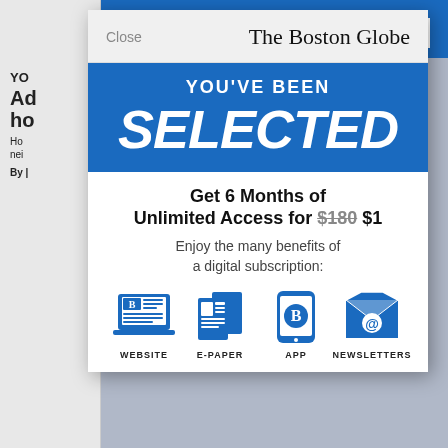[Figure (screenshot): Screenshot of The Boston Globe website with a subscription modal overlay. Background shows the newspaper site with a blue top navigation bar, hamburger menu labeled MENU, and partially visible article text. The modal shows the Boston Globe logo, a blue banner with 'YOU'VE BEEN SELECTED', an offer for 6 Months of Unlimited Access for $180 strikethrough then $1, and four icons for WEBSITE, E-PAPER, APP, NEWSLETTERS.]